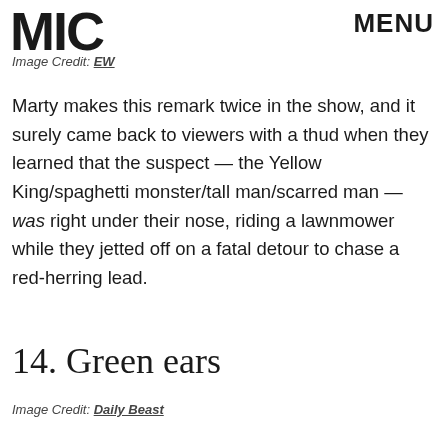MIC   MENU
Image Credit: EW
Marty makes this remark twice in the show, and it surely came back to viewers with a thud when they learned that the suspect — the Yellow King/spaghetti monster/tall man/scarred man — was right under their nose, riding a lawnmower while they jetted off on a fatal detour to chase a red-herring lead.
14. Green ears
Image Credit: Daily Beast